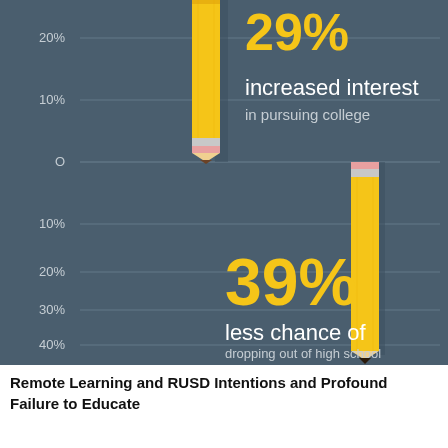[Figure (infographic): An educational infographic on a dark teal/slate background showing two pencil graphics used as bar chart elements. The first pencil points downward (top section) representing 29% increased interest in pursuing college. The second pencil points upward from the bottom (below a center zero line) representing 39% less chance of dropping out of high school. Y-axis labels show 20%, 10%, O on the upper half and 10%, 20%, 30%, 40% on the lower half.]
Remote Learning and RUSD Intentions and Profound Failure to Educate